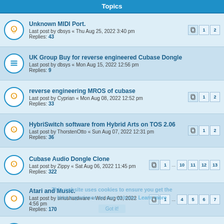Topics
Unknown MIDI Port. Last post by dbsys « Thu Aug 25, 2022 3:40 pm Replies: 43
UK Group Buy for reverse engineered Cubase Dongle Last post by dbsys « Mon Aug 15, 2022 12:56 pm Replies: 9
reverse engineering MROS of cubase Last post by Cyprian « Mon Aug 08, 2022 12:52 pm Replies: 33
HybriSwitch software from Hybrid Arts on TOS 2.06 Last post by ThorstenOtto « Sun Aug 07, 2022 12:31 pm Replies: 36
Cubase Audio Dongle Clone Last post by Zippy « Sat Aug 06, 2022 11:45 pm Replies: 322
Atari and Music. Last post by siriushardware « Wed Aug 03, 2022 4:56 pm Replies: 170
C-lab Notator 3.1 Last post by qazuio « Tue Aug 02, 2022 1:21 pm Replies: 7